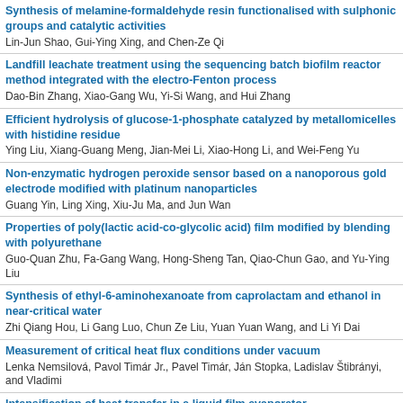Synthesis of melamine-formaldehyde resin functionalised with sulphonic groups and catalytic activities
Lin-Jun Shao, Gui-Ying Xing, and Chen-Ze Qi
Landfill leachate treatment using the sequencing batch biofilm reactor method integrated with the electro-Fenton process
Dao-Bin Zhang, Xiao-Gang Wu, Yi-Si Wang, and Hui Zhang
Efficient hydrolysis of glucose-1-phosphate catalyzed by metallomicelles with histidine residue
Ying Liu, Xiang-Guang Meng, Jian-Mei Li, Xiao-Hong Li, and Wei-Feng Yu
Non-enzymatic hydrogen peroxide sensor based on a nanoporous gold electrode modified with platinum nanoparticles
Guang Yin, Ling Xing, Xiu-Ju Ma, and Jun Wan
Properties of poly(lactic acid-co-glycolic acid) film modified by blending with polyurethane
Guo-Quan Zhu, Fa-Gang Wang, Hong-Sheng Tan, Qiao-Chun Gao, and Yu-Ying Liu
Synthesis of ethyl-6-aminohexanoate from caprolactam and ethanol in near-critical water
Zhi Qiang Hou, Li Gang Luo, Chun Ze Liu, Yuan Yuan Wang, and Li Yi Dai
Measurement of critical heat flux conditions under vacuum
Lenka Nemsilová, Pavol Timár Jr., Pavel Timár, Ján Stopka, Ladislav Štibrányi, and Vladimir...
Intensification of heat transfer in a liquid film evaporator
Pavol Timár Jr., Lenka Nemsilová, Pavel Timár, Ján Stopka, Ladislav Štibrányi, and Vladimir...
Kinetics of enantioselective liquid-liquid extraction of phenylglycine enantiomers using BINAP-copper complex as chiral selector
Pan-Liang Zhang, Jing-Jing Luo, Ke-Wen Tang, and Jian-Min Yi
Preparation and physical properties of chitosan-coated calcium sulphate whiskers
Qiao-Jiang Yue, Chao-Xia Xue, Cai-Fei Wei, and Min Zhang...